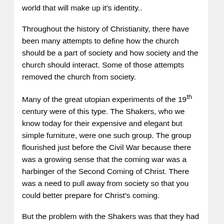world that will make up it's identity..
Throughout the history of Christianity, there have been many attempts to define how the church should be a part of society and how society and the church should interact. Some of those attempts removed the church from society.
Many of the great utopian experiments of the 19th century were of this type. The Shakers, who we know today for their expensive and elegant but simple furniture, were one such group. The group flourished just before the Civil War because there was a growing sense that the coming war was a harbinger of the Second Coming of Christ. There was a need to pull away from society so that you could better prepare for Christ's coming.
But the problem with the Shakers was that they had no way of continuing the movement and thus ultimately died out, leaving only memories of a simple life and basic furniture. In fact, it is ironic that the simple furniture that marked the Shaker lifestyle now sells for prices that only the rich and famous can pay.